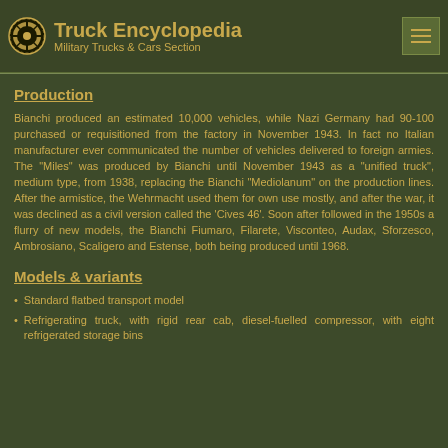Truck Encyclopedia
Military Trucks & Cars Section
Production
Bianchi produced an estimated 10,000 vehicles, while Nazi Germany had 90-100 purchased or requisitioned from the factory in November 1943. In fact no Italian manufacturer ever communicated the number of vehicles delivered to foreign armies. The "Miles" was produced by Bianchi until November 1943 as a "unified truck", medium type, from 1938, replacing the Bianchi "Mediolanum" on the production lines. After the armistice, the Wehrmacht used them for own use mostly, and after the war, it was declined as a civil version called the 'Cives 46'. Soon after followed in the 1950s a flurry of new models, the Bianchi Fiumaro, Filarete, Visconteo, Audax, Sforzesco, Ambrosiano, Scaligero and Estense, both being produced until 1968.
Models & variants
Standard flatbed transport model
Refrigerating truck, with rigid rear cab, diesel-fuelled compressor, with eight refrigerated storage bins